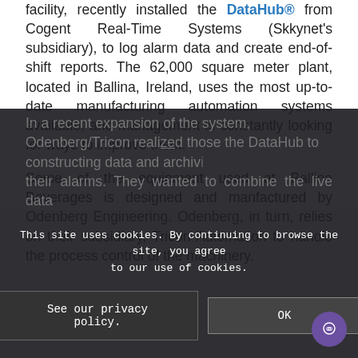facility, recently installed the DataHub® from Cogent Real-Time Systems (Skkynet's subsidiary), to log alarm data and create end-of-shift reports. The 62,000 square meter plant, located in Ballina, Ireland, uses the most up-to-date manufacturing automation systems available, and management is constantly looking for ways to improve them.
Some of the equipment used at Ballina Beverages is designed and manfactured by Odenberg Engineering. Odenberg, in turn, relies on their subsidiary, Tricon Automation to handle the process control of the machinery.
In a recent expansion of the system, Odenberg/Tricon realized those the DataHub to construct... archiving their alarms. They wanted to combine the live data...
This site uses cookies. By continuing to browse the site, you agree to our use of cookies.